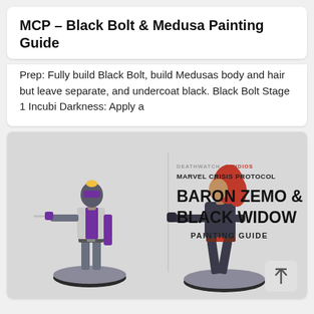MCP – Black Bolt & Medusa Painting Guide
Prep: Fully build Black Bolt, build Medusas body and hair but leave separate, and undercoat black. Black Bolt Stage 1 Incubi Darkness: Apply a
[Figure (photo): Product image showing two painted Marvel Crisis Protocol miniatures (Baron Zemo and Black Widow) on grey bases, with DeathwatchStudios Marvel Crisis Protocol Baron Zemo & Black Widow Painting Guide text overlay on the right side of the image.]